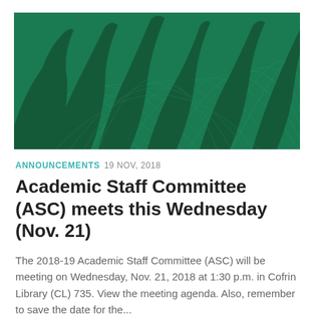[Figure (illustration): Dark green decorative banner image featuring stylized leaf/plant silhouettes on a teal-green patterned background with concentric line textures]
ANNOUNCEMENTS 19 NOV, 2018
Academic Staff Committee (ASC) meets this Wednesday (Nov. 21)
The 2018-19 Academic Staff Committee (ASC) will be meeting on Wednesday, Nov. 21, 2018 at 1:30 p.m. in Cofrin Library (CL) 735. View the meeting agenda. Also, remember to save the date for the...